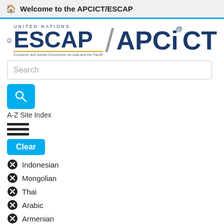Welcome to the APCICT/ESCAP
[Figure (logo): United Nations ESCAP / APCICT logo with UN globe emblem, ESCAP text, orange underline, subtitle 'Economic and Social Commission for Asia and the Pacific', slash divider, and APCICT text]
Search
[Figure (other): Blue search button with magnifying glass icon]
A-Z Site Index
[Figure (other): Hamburger menu icon with three horizontal lines]
Clear
Indonesian
Mongolian
Thai
Arabic
Armenian